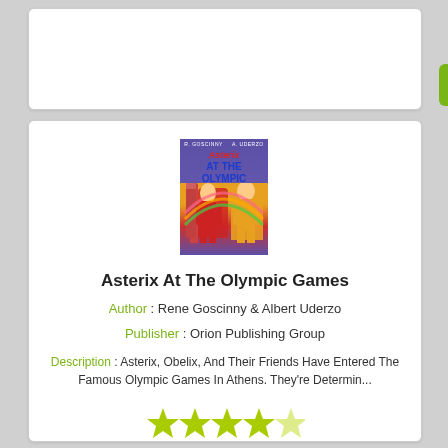[Figure (other): Green 'Add To Booklist' button in top card]
[Figure (illustration): Book cover for 'Asterix At The Olympic Games' showing cartoon characters at Olympic Games, colorful comic-style cover]
Asterix At The Olympic Games
Author : Rene Goscinny & Albert Uderzo
Publisher : Orion Publishing Group
Description : Asterix, Obelix, And Their Friends Have Entered The Famous Olympic Games In Athens. They're Determin...
[Figure (other): Four yellow-green star rating icons]